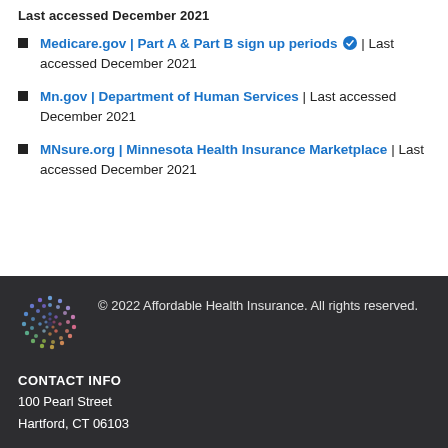Last accessed December 2021
Medicare.gov | Part A & Part B sign up periods | Last accessed December 2021
Mn.gov | Department of Human Services | Last accessed December 2021
MNsure.org | Minnesota Health Insurance Marketplace | Last accessed December 2021
© 2022 Affordable Health Insurance. All rights reserved. CONTACT INFO 100 Pearl Street Hartford, CT 06103